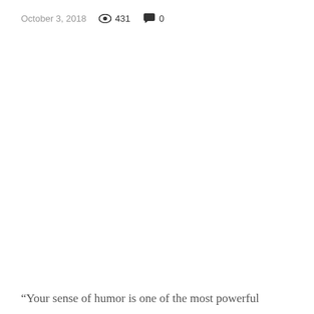October 3, 2018   👁 431   💬 0
“Your sense of humor is one of the most powerful